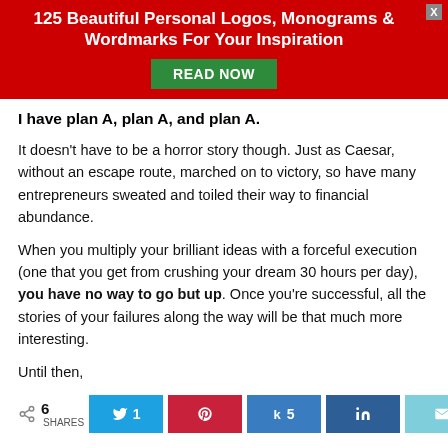[Figure (screenshot): Red banner advertisement: '125 Beautiful Personal Logos, Monograms & Wordmarks For Your Inspiration' with green 'READ NOW' button and grey close X]
I have plan A, plan A, and plan A.
It doesn't have to be a horror story though. Just as Caesar, without an escape route, marched on to victory, so have many entrepreneurs sweated and toiled their way to financial abundance.
When you multiply your brilliant ideas with a forceful execution (one that you get from crushing your dream 30 hours per day), you have no way to go but up. Once you're successful, all the stories of your failures along the way will be that much more interesting.
Until then,
6 SHARES | Tweet 1 | Pin | Koo 5 | Share | Email